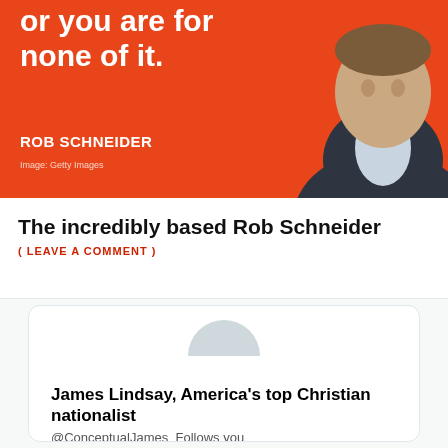[Figure (screenshot): Article thumbnail showing Rob Schneider on an orange background with white bold text 'or you are for none of it.' and name label 'ROB SCHNEIDER' with image credit 'Image: Getty Images']
The incredibly based Rob Schneider
( LEAVE A COMMENT )
[Figure (screenshot): Twitter/X profile card for James Lindsay, America's top Christian nationalist @ConceptualJames. Follows you. 379 Following 315.8K Followers. Shows a grey avatar placeholder.]